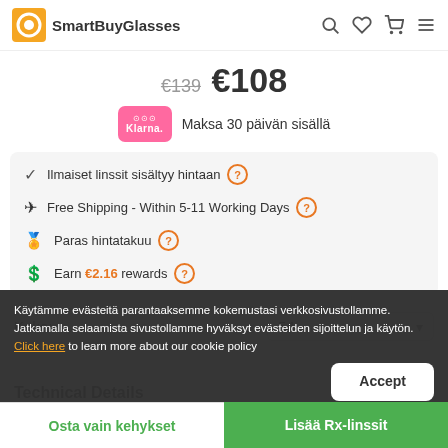SmartBuyGlasses
€139 €108
Maksa 30 päivän sisällä
Ilmaiset linssit sisältyy hintaan ?
Free Shipping - Within 5-11 Working Days ?
Paras hintatakuu ?
Earn €2.16 rewards ?
Koko: 54
Käytämme evästeitä parantaaksemme kokemustasi verkkosivustollamme. Jatkamalla selaamista sivustollamme hyväksyt evästeiden sijoittelun ja käytön. Click here to learn more about our cookie policy
Technical Details
Osta vain kehykset
Lisää Rx-linssit